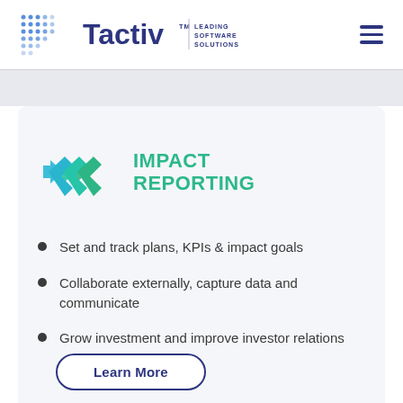[Figure (logo): Tactiv logo with dot pattern and text 'LEADING SOFTWARE SOLUTIONS']
[Figure (logo): Impact Reporting logo - hexagonal arrows icon in teal/green with text 'IMPACT REPORTING' in green]
Set and track plans, KPIs & impact goals
Collaborate externally, capture data and communicate
Grow investment and improve investor relations